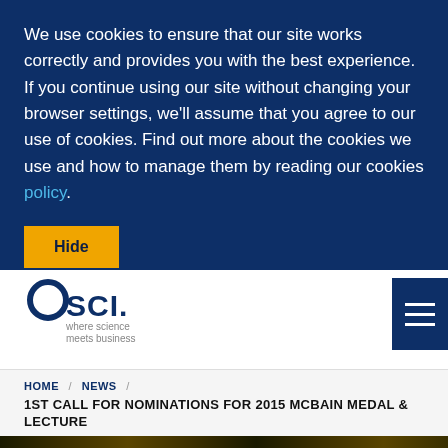We use cookies to ensure that our site works correctly and provides you with the best experience. If you continue using our site without changing your browser settings, we'll assume that you agree to our use of cookies. Find out more about the cookies we use and how to manage them by reading our cookies policy.
[Figure (logo): SCI logo — circle icon above 'SCI.' text with tagline 'where science meets business']
HOME / NEWS / 1ST CALL FOR NOMINATIONS FOR 2015 MCBAIN MEDAL & LECTURE